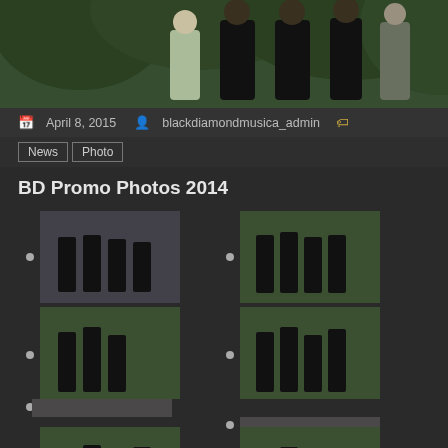[Figure (photo): Band group photo at top of page, members standing in front of green foliage]
April 8, 2015   blackdiamondmusica_admin
News
Photo
BD Promo Photos 2014
[Figure (photo): Gallery thumbnail grid showing multiple promo photos of a band in two columns]
built with GmediaGallery